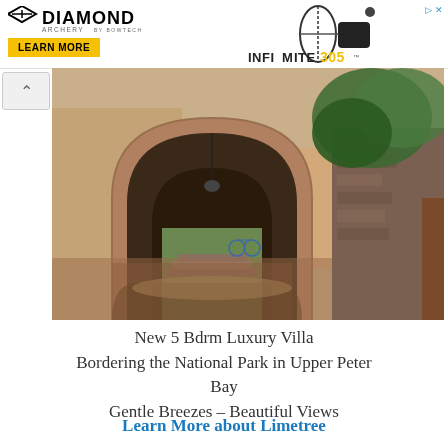[Figure (logo): Diamond Archery by Bowtech advertisement banner with bow image, LEARN MORE button in yellow, INFINITE 305 product name, and close button]
[Figure (photo): Exterior photo of a luxury villa showing a stone archway entrance with Mediterranean architecture, brick flooring, and lush green plants, looking through to a courtyard with stairs]
New 5 Bdrm Luxury Villa Bordering the National Park in Upper Peter Bay Gentle Breezes – Beautiful Views
Learn More about Limetree